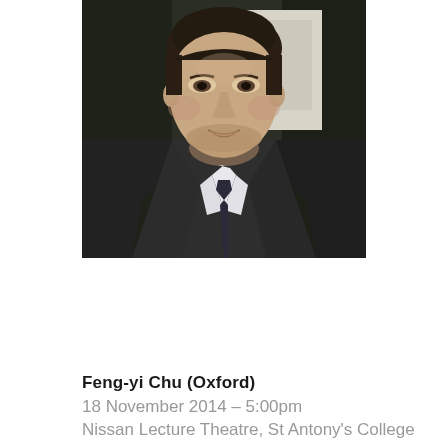[Figure (photo): Portrait photo of a young man in a dark suit and tie with white shirt, cropped at chin level, photographed outdoors with dark foliage in background]
Feng-yi Chu (Oxford)
18 November 2014 – 5:00pm
Nissan Lecture Theatre, St Antony's College